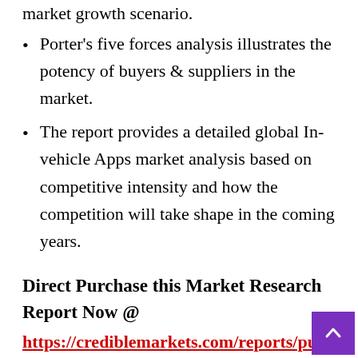Porter's five forces analysis illustrates the potency of buyers & suppliers in the market.
The report provides a detailed global In-vehicle Apps market analysis based on competitive intensity and how the competition will take shape in the coming years.
Direct Purchase this Market Research Report Now @
https://crediblemarkets.com/reports/purchase/in-vehicle-apps-market-811158?license_type=single_user;utm_source=Sn